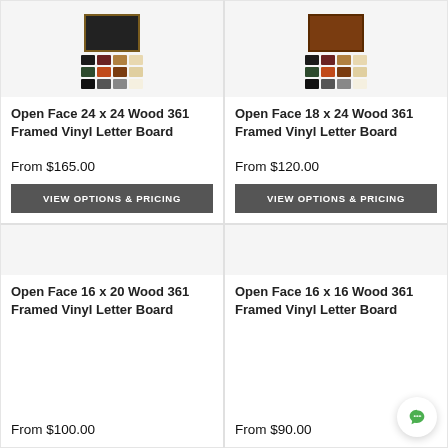[Figure (photo): Product thumbnail for Open Face 24x24 Wood 361 Framed Vinyl Letter Board with color swatches]
Open Face 24 x 24 Wood 361 Framed Vinyl Letter Board
From $165.00
VIEW OPTIONS & PRICING
[Figure (photo): Product thumbnail for Open Face 18x24 Wood 361 Framed Vinyl Letter Board with color swatches]
Open Face 18 x 24 Wood 361 Framed Vinyl Letter Board
From $120.00
VIEW OPTIONS & PRICING
Open Face 16 x 20 Wood 361 Framed Vinyl Letter Board
From $100.00
Open Face 16 x 16 Wood 361 Framed Vinyl Letter Board
From $90.00